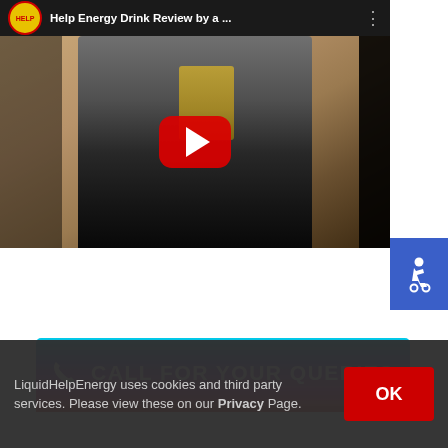[Figure (screenshot): YouTube video embed showing 'Help Energy Drink Review by a...' with a thumbnail of a person standing in a kitchen holding a drink can, with a large red play button overlay.]
[Figure (other): Blue accessibility (wheelchair) icon button on the right side.]
[Figure (other): Gradient 'CALL FOR YOUR QUERIES' button with phone icon, gradient from cyan to pink/red.]
LiquidHelpEnergy uses cookies and third party services. Please view these on our Privacy Page.
OK